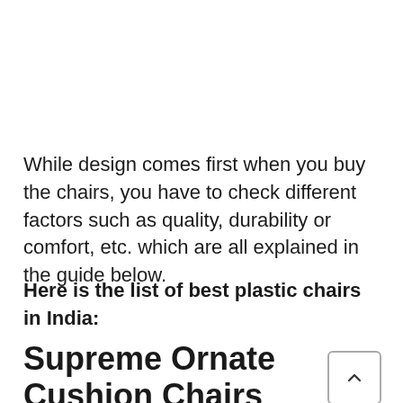While design comes first when you buy the chairs, you have to check different factors such as quality, durability or comfort, etc. which are all explained in the guide below.
Here is the list of best plastic chairs in India:
Supreme Ornate Cushion Chairs